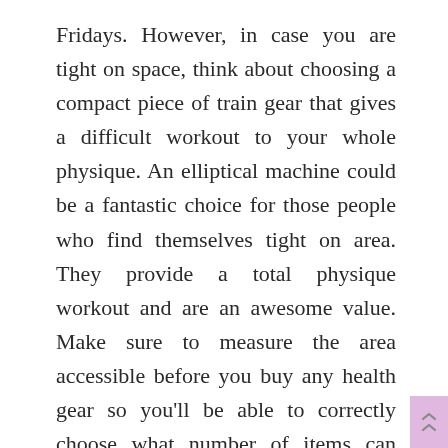Fridays. However, in case you are tight on space, think about choosing a compact piece of train gear that gives a difficult workout to your whole physique. An elliptical machine could be a fantastic choice for those people who find themselves tight on area. They provide a total physique workout and are an awesome value. Make sure to measure the area accessible before you buy any health gear so you’ll be able to correctly choose what number of items can comfortably match into your home health club.
Low-cost and cheerful with the whole lot you want, Victory Health is one in every of Bali’s